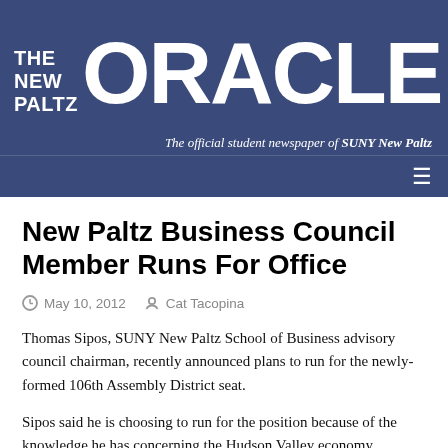[Figure (logo): The New Paltz Oracle newspaper masthead banner — dark navy/blue background with 'THE NEW PALTZ' in white bold sans-serif on the left, 'ORACLE' in large white bold uppercase letters, and subtitle 'The official student newspaper of SUNY New Paltz' in white italic below.]
New Paltz Business Council Member Runs For Office
May 10, 2012   Cat Tacopina
Thomas Sipos, SUNY New Paltz School of Business advisory council chairman, recently announced plans to run for the newly-formed 106th Assembly District seat.
Sipos said he is choosing to run for the position because of the knowledge he has concerning the Hudson Valley economy.
“I’m not a politics guy, so this has been a real education for me,” Sipos